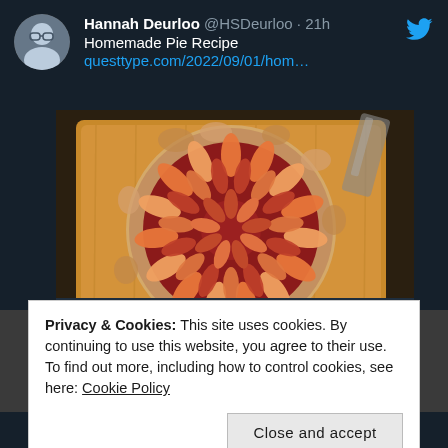[Figure (screenshot): Twitter/X screenshot showing a tweet by Hannah Deurloo @HSDeurloo posted 21h ago about Homemade Pie Recipe with a link to questtype.com/2022/09/01/hom..., containing a photo of a circular fruit galette pie with sliced peaches/nectarines arranged in a spiral pattern on a wooden cutting board, and a link preview card showing questtype.com and 'Homemade Pie Recipe']
Privacy & Cookies: This site uses cookies. By continuing to use this website, you agree to their use.
To find out more, including how to control cookies, see here: Cookie Policy
Close and accept
because I LOVE this story and if you like